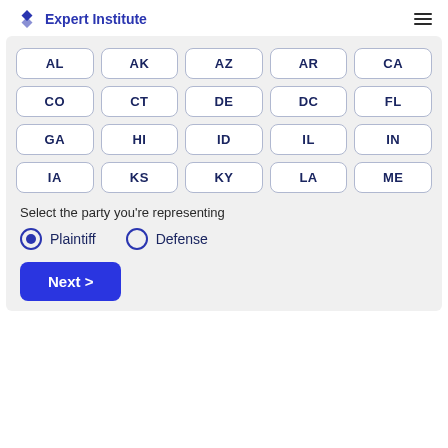Expert Institute
[Figure (infographic): Grid of US state abbreviation selector buttons: AL, AK, AZ, AR, CA, CO, CT, DE, DC, FL, GA, HI, ID, IL, IN, IA, KS, KY, LA, ME]
Select the party you're representing
Plaintiff (selected)
Defense
Next >